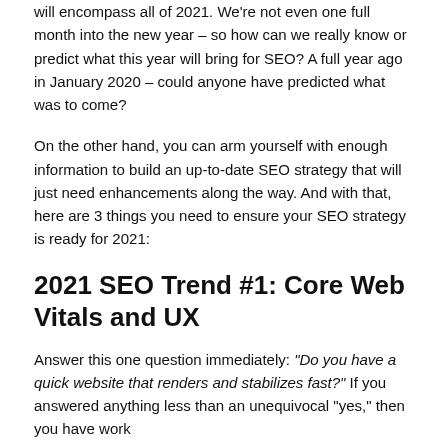will encompass all of 2021. We're not even one full month into the new year – so how can we really know or predict what this year will bring for SEO? A full year ago in January 2020 – could anyone have predicted what was to come?
On the other hand, you can arm yourself with enough information to build an up-to-date SEO strategy that will just need enhancements along the way. And with that, here are 3 things you need to ensure your SEO strategy is ready for 2021:
2021 SEO Trend #1: Core Web Vitals and UX
Answer this one question immediately: "Do you have a quick website that renders and stabilizes fast?" If you answered anything less than an unequivocal "yes," then you have work